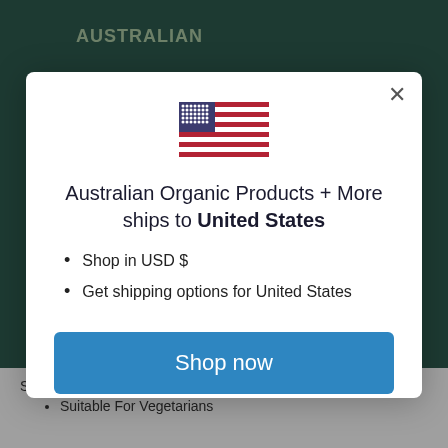AUSTRALIAN
[Figure (illustration): US flag emoji]
Australian Organic Products + More ships to United States
Shop in USD $
Get shipping options for United States
Shop now
Change shipping country
SLS
Suitable For Vegetarians